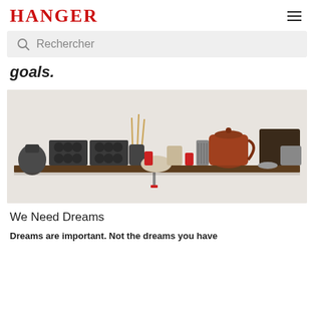HANGER
Rechercher
goals.
[Figure (photo): A wooden shelf displaying vintage kitchen items including muffin tins, a teapot, mug, grater, ceramic jug, red candles, a bowl, and a dark tray against a light background.]
We Need Dreams
Dreams are important. Not the dreams you have